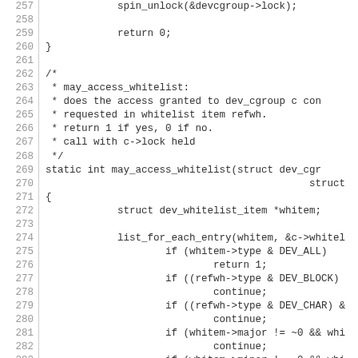Source code listing lines 257-286 showing C kernel code with spin_unlock, return 0, may_access_whitelist function and related logic